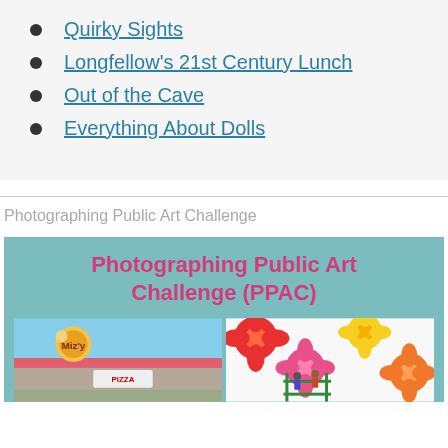Quirky Sights
Longfellow's 21st Century Lunch
Out of the Cave
Everything About Dolls
Photographing Public Art Challenge
[Figure (infographic): Photographing Public Art Challenge (PPAC) promotional graphic on teal background with two photos below showing a retro drive-in/pizza building and a colorful floral mural with workers on scaffolding]